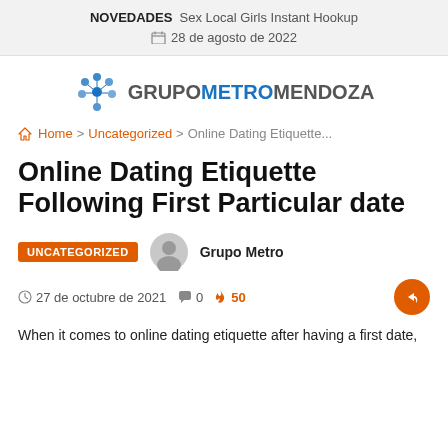NOVEDADES  Sex Local Girls Instant Hookup
📅 28 de agosto de 2022
[Figure (logo): Grupo Metro Mendoza logo with circular blue dots icon and text GRUPOMETROMENDOZA]
🏠 Home > Uncategorized > Online Dating Etiquette...
Online Dating Etiquette Following First Particular date
UNCATEGORIZED   Grupo Metro
27 de octubre de 2021   💬 0   🔥 50
When it comes to online dating etiquette after having a first date,